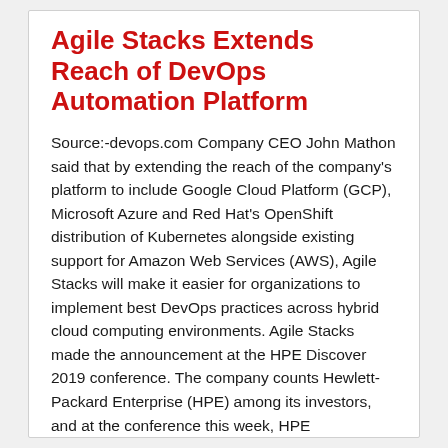Agile Stacks Extends Reach of DevOps Automation Platform
Source:-devops.com Company CEO John Mathon said that by extending the reach of the company's platform to include Google Cloud Platform (GCP), Microsoft Azure and Red Hat's OpenShift distribution of Kubernetes alongside existing support for Amazon Web Services (AWS), Agile Stacks will make it easier for organizations to implement best DevOps practices across hybrid cloud computing environments. Agile Stacks made the announcement at the HPE Discover 2019 conference. The company counts Hewlett-Packard Enterprise (HPE) among its investors, and at the conference this week, HPE
Read more